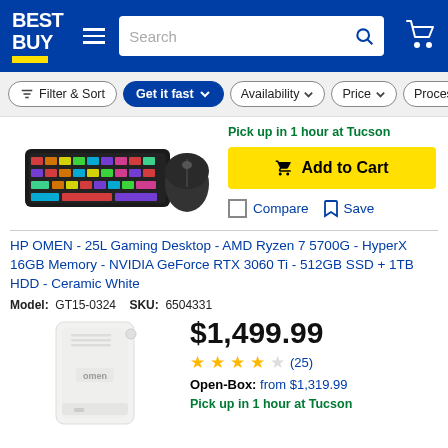[Figure (screenshot): Best Buy website header with logo, hamburger menu, search bar, and cart icon on blue background]
[Figure (screenshot): Filter bar with Filter & Sort, Get it fast (active/blue), Availability, Price, Processor filter buttons]
[Figure (photo): Partial product image: RGB gaming keyboard and mouse]
Pick up in 1 hour at Tucson
Add to Cart
Compare   Save
HP OMEN - 25L Gaming Desktop - AMD Ryzen 7 5700G - HyperX 16GB Memory - NVIDIA GeForce RTX 3060 Ti - 512GB SSD + 1TB HDD - Ceramic White
Model: GT15-0324   SKU: 6504331
[Figure (photo): HP OMEN 25L gaming desktop tower in Ceramic White]
$1,499.99
(25) stars rating
Open-Box: from $1,319.99
Pick up in 1 hour at Tucson